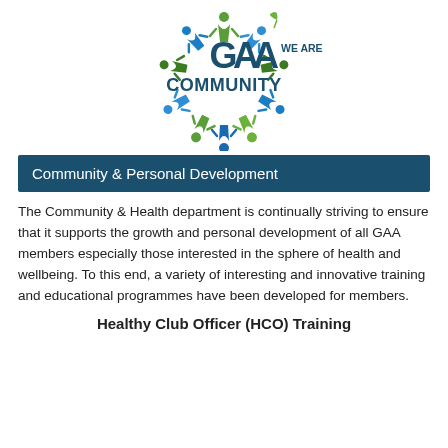[Figure (logo): GAA We Are Community logo — circular ring of stylized human figures in green and blue, with 'GAA WE ARE COMMUNITY' text in dark blue/green]
Community & Personal Development
The Community & Health department is continually striving to ensure that it supports the growth and personal development of all GAA members especially those interested in the sphere of health and wellbeing. To this end, a variety of interesting and innovative training and educational programmes have been developed for members.
Healthy Club Officer (HCO) Training